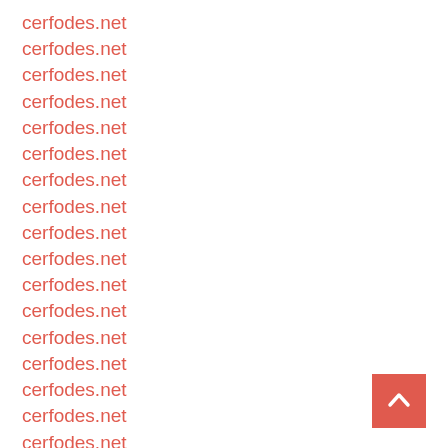cerfodes.net
cerfodes.net
cerfodes.net
cerfodes.net
cerfodes.net
cerfodes.net
cerfodes.net
cerfodes.net
cerfodes.net
cerfodes.net
cerfodes.net
cerfodes.net
cerfodes.net
cerfodes.net
cerfodes.net
cerfodes.net
cerfodes.net
cerfodes.net
cerfodes.net
cerfodes.net
[Figure (other): Back to top button: red/coral square with white upward-pointing chevron arrow]